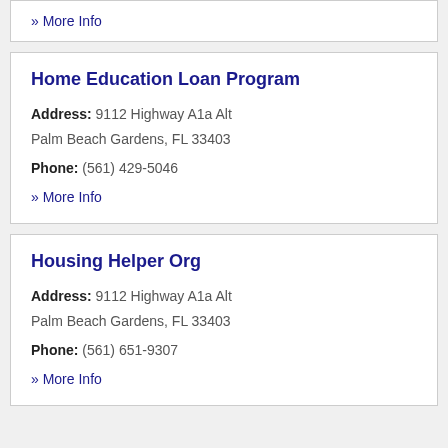» More Info
Home Education Loan Program
Address: 9112 Highway A1a Alt Palm Beach Gardens, FL 33403
Phone: (561) 429-5046
» More Info
Housing Helper Org
Address: 9112 Highway A1a Alt Palm Beach Gardens, FL 33403
Phone: (561) 651-9307
» More Info